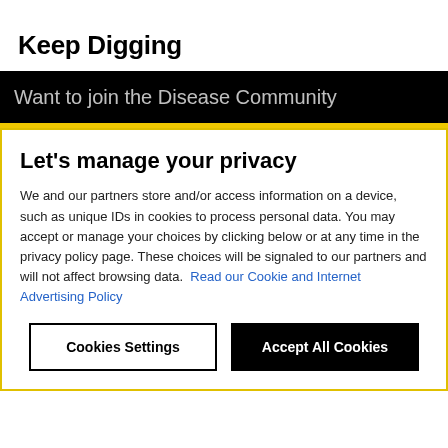Keep Digging
[Figure (screenshot): Dark black banner with white text reading 'Want to join the Disease Community' partially visible, with a yellow horizontal bar below it]
Let's manage your privacy
We and our partners store and/or access information on a device, such as unique IDs in cookies to process personal data. You may accept or manage your choices by clicking below or at any time in the privacy policy page. These choices will be signaled to our partners and will not affect browsing data. Read our Cookie and Internet Advertising Policy
Cookies Settings
Accept All Cookies